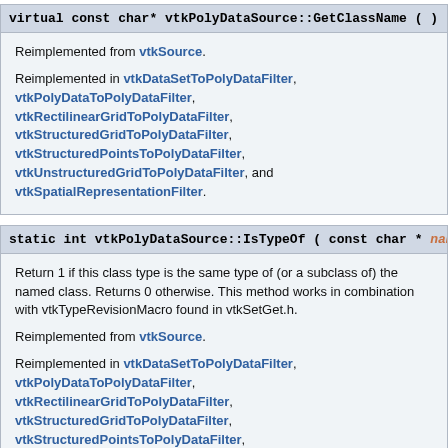virtual const char* vtkPolyDataSource::GetClassName (  ) [v
Reimplemented from vtkSource.
Reimplemented in vtkDataSetToPolyDataFilter, vtkPolyDataToPolyDataFilter, vtkRectilinearGridToPolyDataFilter, vtkStructuredGridToPolyDataFilter, vtkStructuredPointsToPolyDataFilter, vtkUnstructuredGridToPolyDataFilter, and vtkSpatialRepresentationFilter.
static int vtkPolyDataSource::IsTypeOf ( const char * name )
Return 1 if this class type is the same type of (or a subclass of) the named class. Returns 0 otherwise. This method works in combination with vtkTypeRevisionMacro found in vtkSetGet.h.
Reimplemented from vtkSource.
Reimplemented in vtkDataSetToPolyDataFilter, vtkPolyDataToPolyDataFilter, vtkRectilinearGridToPolyDataFilter, vtkStructuredGridToPolyDataFilter, vtkStructuredPointsToPolyDataFilter,